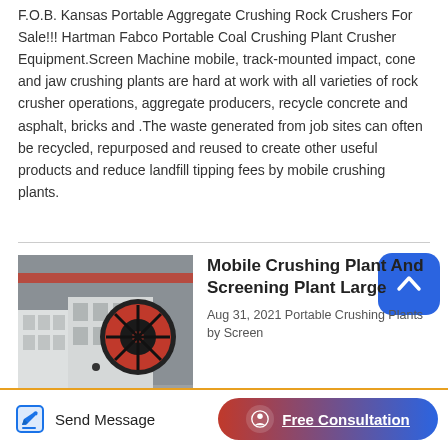F.O.B. Kansas Portable Aggregate Crushing Rock Crushers For Sale!!! Hartman Fabco Portable Coal Crushing Plant Crusher Equipment.Screen Machine mobile, track-mounted impact, cone and jaw crushing plants are hard at work with all varieties of rock crusher operations, aggregate producers, recycle concrete and asphalt, bricks and .The waste generated from job sites can often be recycled, repurposed and reused to create other useful products and reduce landfill tipping fees by mobile crushing plants.
[Figure (photo): Industrial jaw crusher machine in a large factory/warehouse setting with red and white machinery components]
Mobile Crushing Plant And Screening Plant Large
Aug 31, 2021 Portable Crushing Plants by Screen
Send Message   Free Consultation